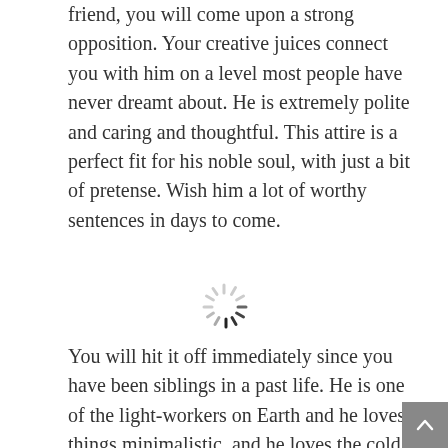friend, you will come upon a strong opposition. Your creative juices connect you with him on a level most people have never dreamt about. He is extremely polite and caring and thoughtful. This attire is a perfect fit for his noble soul, with just a bit of pretense. Wish him a lot of worthy sentences in days to come.
[Figure (other): A loading spinner icon (circular spinner with radial lines, partially dark and partially light)]
You will hit it off immediately since you have been siblings in a past life. He is one of the light-workers on Earth and he loves things minimalistic, and he loves the cold, so there is